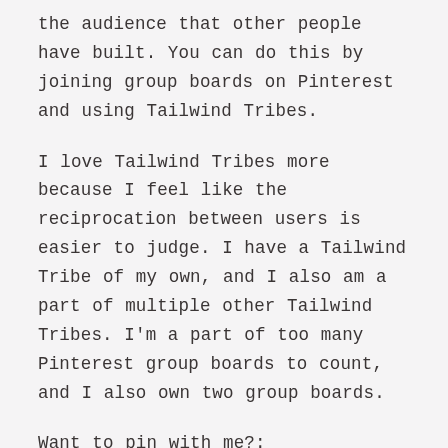the audience that other people have built. You can do this by joining group boards on Pinterest and using Tailwind Tribes.
I love Tailwind Tribes more because I feel like the reciprocation between users is easier to judge. I have a Tailwind Tribe of my own, and I also am a part of multiple other Tailwind Tribes. I'm a part of too many Pinterest group boards to count, and I also own two group boards.
Want to pin with me?:
Click here to join The H...